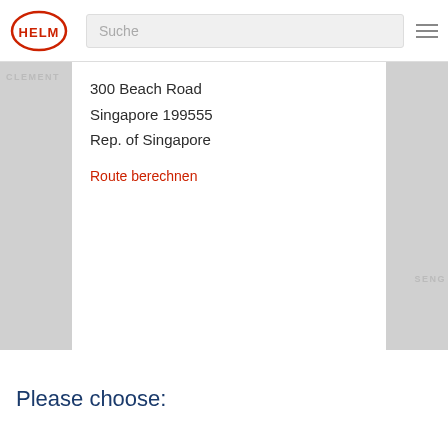[Figure (logo): HELM logo — red oval outline with HELM text in red]
Suche
300 Beach Road
Singapore 199555
Rep. of Singapore
Route berechnen
[Figure (map): Grey map background with white info panel overlay showing Singapore address. Left strip with CLEMENT label, right strip with SENG label.]
Please choose: